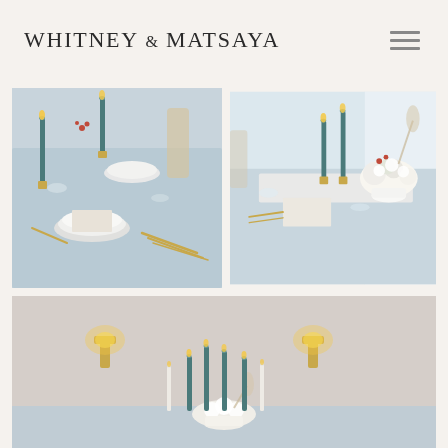WHITNEY & MATSAYA
[Figure (photo): Close-up of elegant wedding table setting with blue-gray linen, white plates, gold cutlery, teal taper candles in gold holders, and white place cards]
[Figure (photo): Wedding table centerpiece with white floral arrangement, teal taper candles, white napkins, and gold cutlery near a bright window]
[Figure (photo): Venue interior wall with two warm gold sconce lights, teal taper candles and white floral centerpiece in foreground]